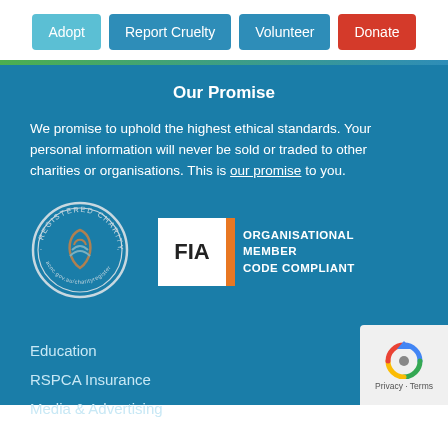Adopt | Report Cruelty | Volunteer | Donate
Our Promise
We promise to uphold the highest ethical standards. Your personal information will never be sold or traded to other charities or organisations. This is our promise to you.
[Figure (logo): Registered Charity logo — circular badge with ACNC registered charity text and swoosh symbol]
[Figure (logo): FIA Organisational Member Code Compliant badge — white box with FIA text, orange bar, and text ORGANISATIONAL MEMBER CODE COMPLIANT]
Education
RSPCA Insurance
Media & Advertising
[Figure (logo): Privacy · Terms widget with reCAPTCHA-style icon]